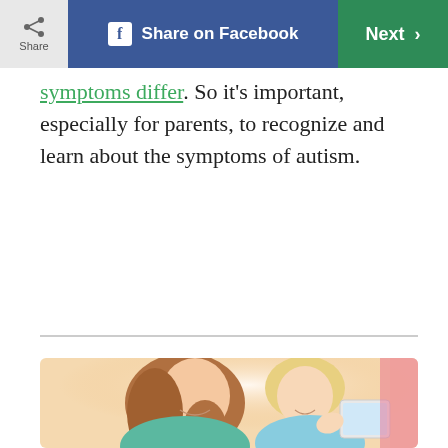Share | Share on Facebook | Next >
symptoms differ. So it's important, especially for parents, to recognize and learn about the symptoms of autism.
[Figure (photo): A smiling woman and a young blonde child looking at a tablet device together, both wearing light blue tops.]